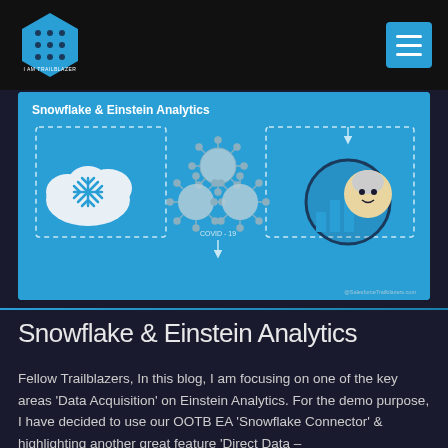I AM TRAILBLAZER
[Figure (infographic): Snowflake and Einstein Analytics diagram on teal/blue background. Shows Snowflake cloud icon on left with dashed box, three COVID-19 snowflake/virus icons in center labeled 'COVID-19', and Einstein Analytics logo (bar chart with Einstein cartoon) on right. Dashed arrows connect the elements. Watermark: @SalesforceTrailblazers.com. Title text: Snowflake & Einstein Analytics.]
Snowflake & Einstein Analytics
Fellow Trailblazers, In this blog, I am focusing on one of the key areas 'Data Acquisition' on Einstein Analytics. For the demo purpose, I have decided to use our OOTB EA 'Snowflake Connector' & highlighting another great feature 'Direct Data –